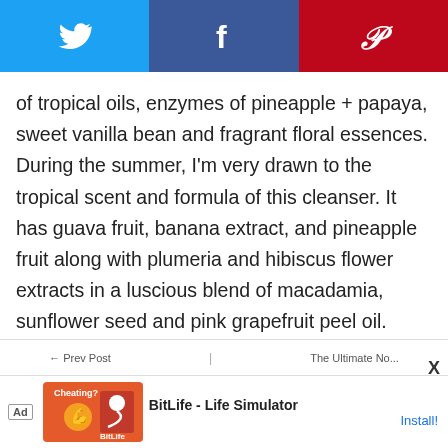[Figure (other): Social sharing bar with Twitter (blue), Facebook (dark blue), and Pinterest (red) icons]
of tropical oils, enzymes of pineapple + papaya, sweet vanilla bean and fragrant floral essences. During the summer, I'm very drawn to the tropical scent and formula of this cleanser. It has guava fruit, banana extract, and pineapple fruit along with plumeria and hibiscus flower extracts in a luscious blend of macadamia, sunflower seed and pink grapefruit peel oil.
Lightweight and silky, Pamplemousse dissolves the day's makeup and sunscreen easily while moisturizing skin. With water it every so slightly emulsified and rinses off. Pamplemousse Cleansing Oil is fruity, tropic…
[Figure (other): Ad banner: BitLife - Life Simulator app advertisement with Install button]